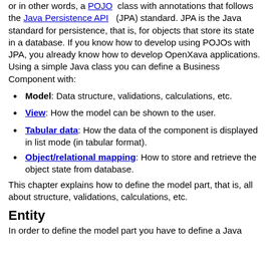or in other words, a POJO class with annotations that follows the Java Persistence API (JPA) standard. JPA is the Java standard for persistence, that is, for objects that store its state in a database. If you know how to develop using POJOs with JPA, you already know how to develop OpenXava applications. Using a simple Java class you can define a Business Component with:
Model: Data structure, validations, calculations, etc.
View: How the model can be shown to the user.
Tabular data: How the data of the component is displayed in list mode (in tabular format).
Object/relational mapping: How to store and retrieve the object state from database.
This chapter explains how to define the model part, that is, all about structure, validations, calculations, etc.
Entity
In order to define the model part you have to define a Java